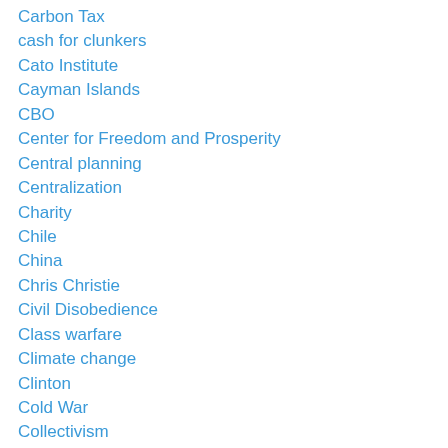Carbon Tax
cash for clunkers
Cato Institute
Cayman Islands
CBO
Center for Freedom and Prosperity
Central planning
Centralization
Charity
Chile
China
Chris Christie
Civil Disobedience
Class warfare
Climate change
Clinton
Cold War
Collectivism
Communism
Competitiveness